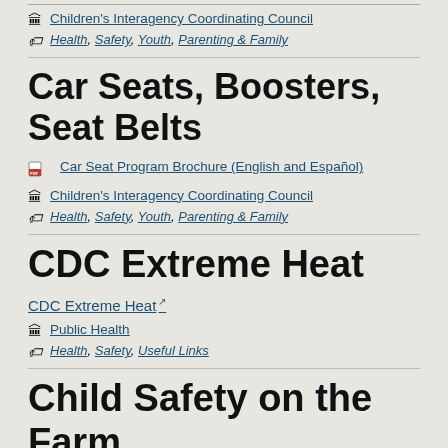Children's Interagency Coordinating Council
Health, Safety, Youth, Parenting & Family
Car Seats, Boosters, Seat Belts
Car Seat Program Brochure (English and Español)
Children's Interagency Coordinating Council
Health, Safety, Youth, Parenting & Family
CDC Extreme Heat
CDC Extreme Heat
Public Health
Health, Safety, Useful Links
Child Safety on the Farm